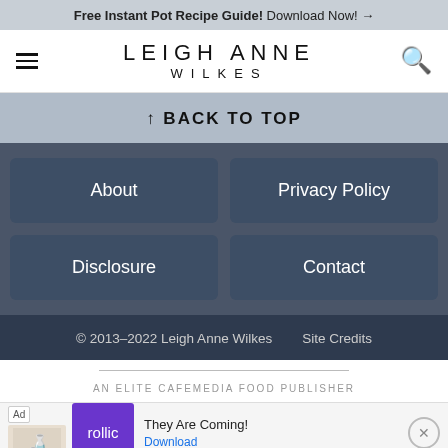Free Instant Pot Recipe Guide! Download Now! →
LEIGH ANNE WILKES
↑ BACK TO TOP
About
Privacy Policy
Disclosure
Contact
© 2013–2022 Leigh Anne Wilkes   Site Credits
AN ELITE CAFEMEDIA FOOD PUBLISHER
[Figure (screenshot): Advertisement banner: Ad label, game image placeholder, purple Rollic logo, 'They Are Coming!' text, Download link, and close X button]